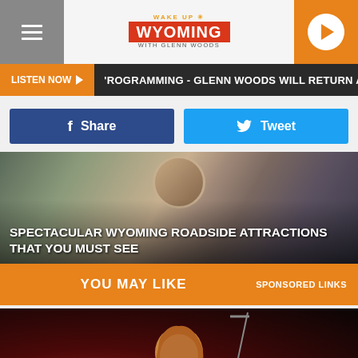Wake Up Wyoming with Glenn Woods
LISTEN NOW ▶ PROGRAMMING - GLENN WOODS WILL RETURN AT 6:0
Share
Tweet
[Figure (photo): Composite image showing Wyoming roadside attractions including a cowboy statue and other scenes]
SPECTACULAR WYOMING ROADSIDE ATTRACTIONS THAT YOU MUST SEE
YOU MAY LIKE   SPONSORED LINKS
[Figure (photo): Man with reddish-brown hair performing on stage with a microphone stand, dark background with red stage lighting]